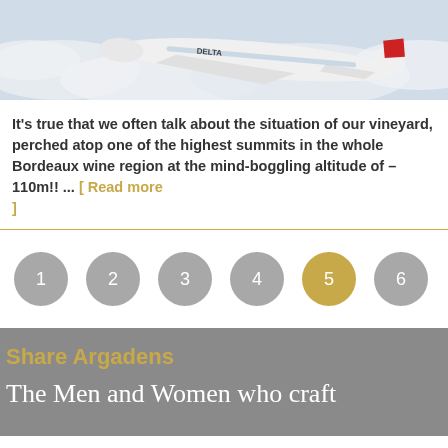[Figure (photo): A Delta Airlines aircraft flying above clouds, viewed from slightly below and to the rear-side, showing the red Delta tail logo.]
It's true that we often talk about the situation of our vineyard, perched atop one of the highest summits in the whole Bordeaux wine region at the mind-boggling altitude of –110m!! ... [ Read more ]
[Figure (infographic): Pagination circles numbered 1 through 6, with circle 5 highlighted in gold/tan color and the rest in grey.]
Share Argadens
The Men and Women who craft